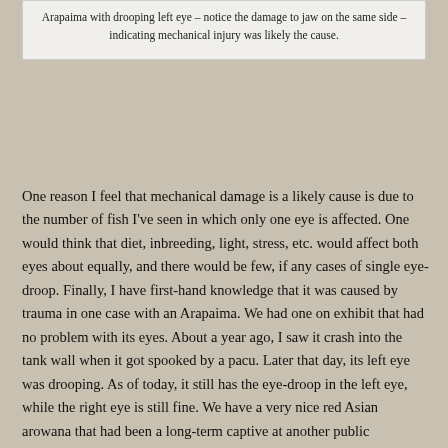Arapaima with drooping left eye – notice the damage to jaw on the same side – indicating mechanical injury was likely the cause.
One reason I feel that mechanical damage is a likely cause is due to the number of fish I've seen in which only one eye is affected. One would think that diet, inbreeding, light, stress, etc. would affect both eyes about equally, and there would be few, if any cases of single eye-droop. Finally, I have first-hand knowledge that it was caused by trauma in one case with an Arapaima. We had one on exhibit that had no problem with its eyes. About a year ago, I saw it crash into the tank wall when it got spooked by a pacu. Later that day, its left eye was drooping. As of today, it still has the eye-droop in the left eye, while the right eye is still fine. We have a very nice red Asian arowana that had been a long-term captive at another public aquarium. At some point while it was here, it developed a slight droop in its right eye, but